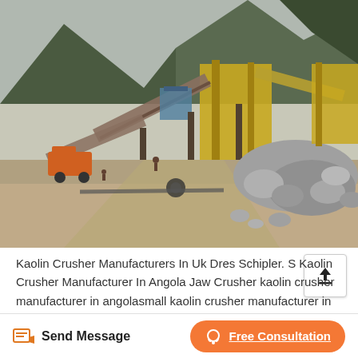[Figure (photo): Outdoor mining/quarry site with heavy industrial crushing equipment, conveyor belts, and machinery set against a mountainous background. Rocks and gravel are visible in the foreground, along with trucks and workers.]
Kaolin Crusher Manufacturers In Uk Dres Schipler. S Kaolin Crusher Manufacturer In Angola Jaw Crusher kaolin crusher manufacturer in angolasmall kaolin crusher manufacturer in angolaSmall kaolin crusher manufacturer